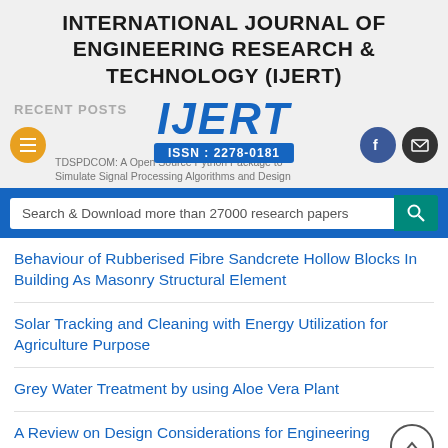INTERNATIONAL JOURNAL OF ENGINEERING RESEARCH & TECHNOLOGY (IJERT)
RECENT POSTS
[Figure (logo): IJERT logo with stylized letters and ISSN : 2278-0181 banner]
TDSPDCOM: A Open Source Python Package to Simulate Signal Processing Algorithms and Design
Search & Download more than 27000 research papers
Behaviour of Rubberised Fibre Sandcrete Hollow Blocks In Building As Masonry Structural Element
Solar Tracking and Cleaning with Energy Utilization for Agriculture Purpose
Grey Water Treatment by using Aloe Vera Plant
A Review on Design Considerations for Engineering Materials